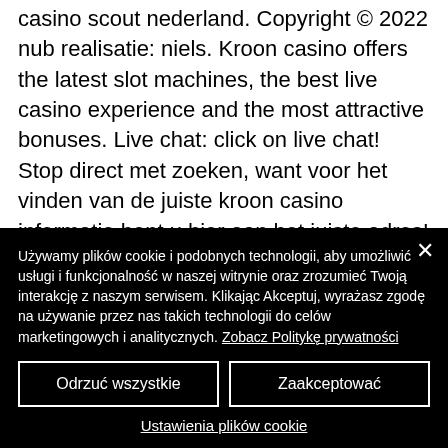casino scout nederland. Copyright © 2022 nub realisatie: niels. Kroon casino offers the latest slot machines, the best live casino experience and the most attractive bonuses. Live chat: click on live chat! Stop direct met zoeken, want voor het vinden van de juiste kroon casino informatie bent u hier aan het juiste adres! live casino. Casoola casino - top online casino | up to $1500 casino bonus ✓ 200 free spins ✓ best slots, blackjack, roulette, live casino ➤ join now! t&c
Używamy plików cookie i podobnych technologii, aby umożliwić usługi i funkcjonalność w naszej witrynie oraz zrozumieć Twoją interakcję z naszym serwisem. Klikając Akceptuj, wyrażasz zgodę na używanie przez nas takich technologii do celów marketingowych i analitycznych. Zobacz Politykę prywatności
Odrzuć wszystkie
Zaakceptować
Ustawienia plików cookie